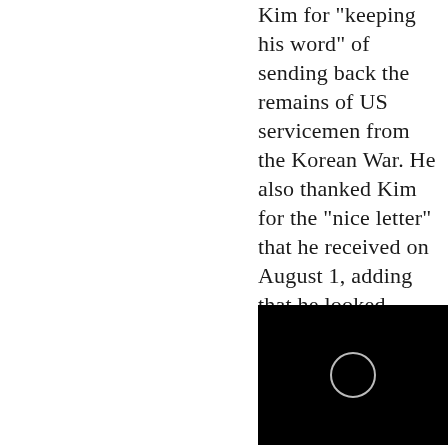Kim for "keeping his word" of sending back the remains of US servicemen from the Korean War. He also thanked Kim for the "nice letter" that he received on August 1, adding that he looked forward to seeing him soon.
[Figure (screenshot): Black video thumbnail with a circular play button outline in the center]
"Thank you to Chairman Kim Jong Un for keeping your word & starting the